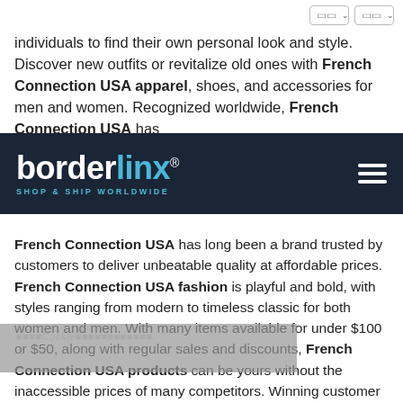[Figure (screenshot): Two dropdown selector boxes in top-right corner of a webpage]
individuals to find their own personal look and style. Discover new outfits or revitalize old ones with French Connection USA apparel, shoes, and accessories for men and women. Recognized worldwide, French Connection USA has
[Figure (logo): Borderlinx logo — white and cyan text on dark navy background reading 'borderlinx' with registered trademark, tagline 'SHOP & SHIP WORLDWIDE', and hamburger menu icon on right]
French Connection USA has long been a brand trusted by customers to deliver unbeatable quality at affordable prices. French Connection USA fashion is playful and bold, with styles ranging from modern to timeless classic for both women and men. With many items available for under $100 or $50, along with regular sales and discounts, French Connection USA products can be yours without the inaccessible prices of many competitors. Winning customer services makes shopping at French Connection USA a pleasure, and there's always something exciting to stumble upon with regular seasonal collections added to the wide existing selection of apparel and accessories, no matter what time of year it is.